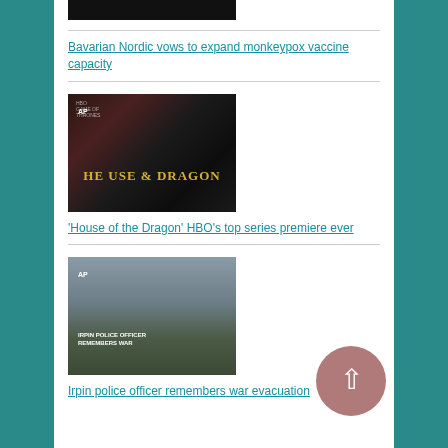[Figure (screenshot): Partial thumbnail image at top of page, mostly black]
Bavarian Nordic vows to expand monkeypox vaccine capacity
[Figure (screenshot): House of the Dragon HBO show title card with AP logo badge]
'House of the Dragon' HBO's top series premiere ever
[Figure (screenshot): War scene video thumbnail with text 'IRPIN POLICE OFFICER REMEMBERS WAR' and AP badge]
Irpin police officer remembers war evacuation